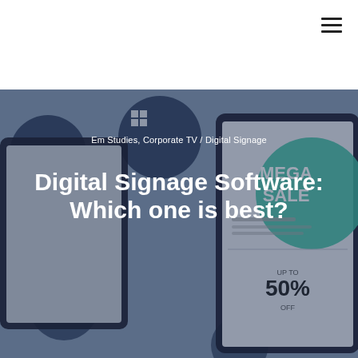Em Studies, Corporate TV / Digital Signage
Digital Signage Software: Which one is best?
[Figure (photo): Hero background image showing digital signage devices: a tablet and smartphone displaying promotional screens including a 'MEGA SALE UP TO 50% OFF' advertisement, overlaid with dark blue circular icons including a Windows logo, set against a muted blue-grey background]